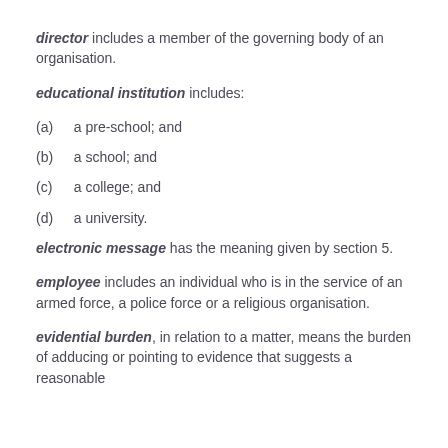director includes a member of the governing body of an organisation.
educational institution includes:
(a)  a pre-school; and
(b)  a school; and
(c)  a college; and
(d)  a university.
electronic message has the meaning given by section 5.
employee includes an individual who is in the service of an armed force, a police force or a religious organisation.
evidential burden, in relation to a matter, means the burden of adducing or pointing to evidence that suggests a reasonable possibility that the matter exists or does not exist.